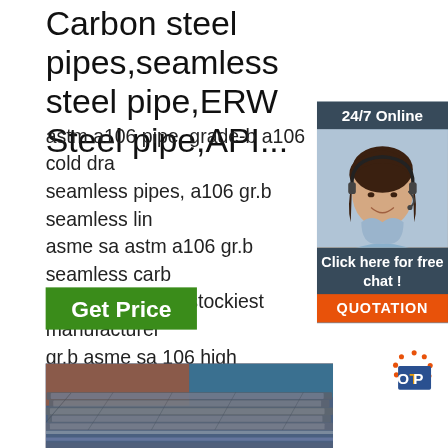Carbon steel pipes,seamless steel pipe,ERW Steel pipe,API...
astm a106 pipe, grade-b a106 cold draw seamless pipes, a106 gr.b seamless line asme sa astm a106 gr.b seamless carbo pipes and tubes stockiest manufacturer gr.b asme sa 106 high temperature seam dealer, astm a106 carbon steel grade b t a106 seamless pressure pipe, read more
[Figure (infographic): Chat widget with 24/7 Online label, photo of customer service representative, 'Click here for free chat!' text, and orange QUOTATION button]
[Figure (photo): Green Get Price button]
[Figure (photo): Photo of stacked steel pipes/rods in industrial setting]
[Figure (logo): TOP logo with orange dots arranged in circle pattern]